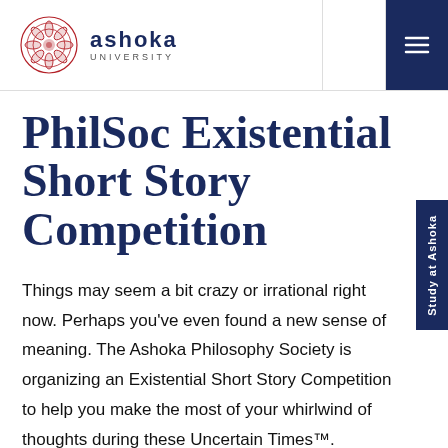Ashoka University
PhilSoc Existential Short Story Competition
Things may seem a bit crazy or irrational right now. Perhaps you've even found a new sense of meaning. The Ashoka Philosophy Society is organizing an Existential Short Story Competition to help you make the most of your whirlwind of thoughts during these Uncertain Times™.